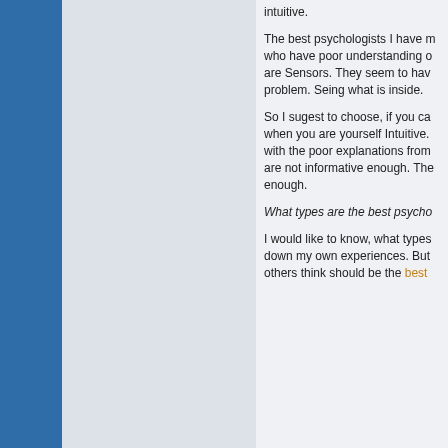intuitive.
The best psychologists I have m who have poor understanding o are Sensors. They seem to hav problem. Seing what is inside.
So I sugest to choose, if you ca when you are yourself Intuitive. with the poor explanations from are not informative enough. The enough.
What types are the best psycho
I would like to know, what types down my own experiences. But others think should be the best
Semiotical process
02-21-2007, 12:38 PM